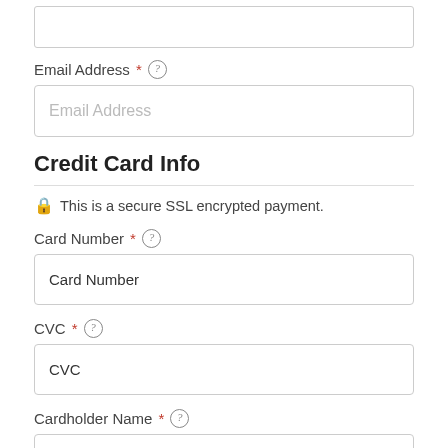Email Address * (?) [field label]
Email Address [input placeholder]
Credit Card Info
🔒 This is a secure SSL encrypted payment.
Card Number * (?) [field label]
Card Number [input placeholder]
CVC * (?) [field label]
CVC [input placeholder]
Cardholder Name * (?) [field label]